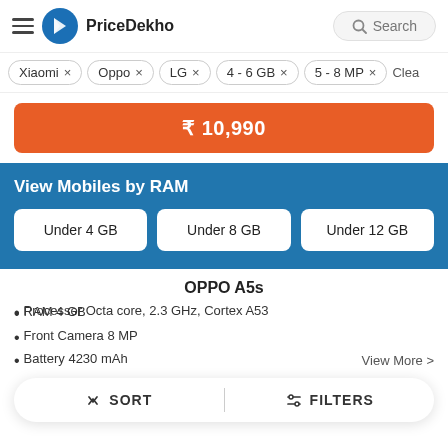PriceDekho | Search
Xiaomi ×
Oppo ×
LG ×
4 - 6 GB ×
5 - 8 MP ×
Clea
₹ 10,990
View Mobiles by RAM
Under 4 GB
Under 8 GB
Under 12 GB
OPPO A5s
Processor Octa core, 2.3 GHz, Cortex A53
RAM 4 GB
Front Camera 8 MP
Battery 4230 mAh
View More
↕ SORT | ⫘ FILTERS